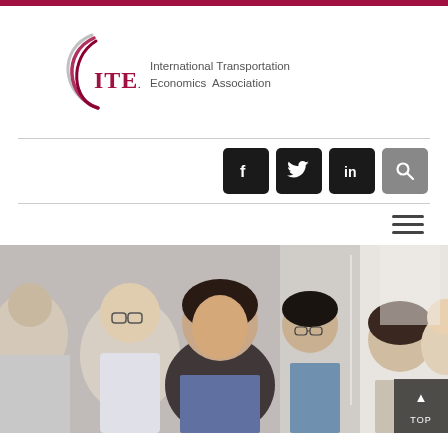[Figure (logo): ITEA logo with swoosh arcs in crimson and the text ITEA in large red serif letters, followed by 'International Transportation Economics Association']
[Figure (infographic): Social media buttons: Facebook (f), Twitter (bird), LinkedIn (in), and a search (magnifying glass) icon, all on dark square backgrounds]
[Figure (infographic): Hamburger menu icon (three horizontal lines)]
[Figure (photo): Group of students or conference attendees (multiple people with glasses, mixed ethnicities) listening attentively in a bright room, with a 'TOP' navigation button overlay in the bottom right corner]